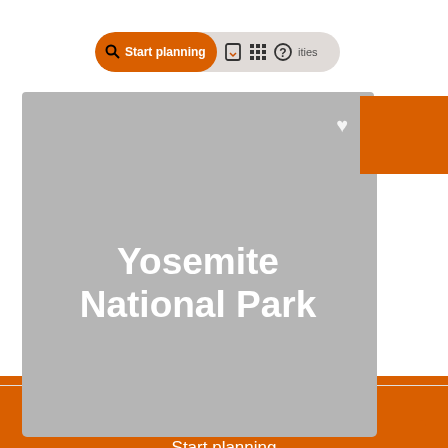[Figure (screenshot): Mobile app interface showing a search/navigation bar with 'Start planning' button in orange pill shape, bookmark icon, grid icon, and help icon]
[Figure (photo): Gray placeholder image card for Yosemite National Park with white heart icon in top-right corner and bold white text 'Yosemite National Park' overlaid on the image]
Best for: World heritage site, Geologic For...
Start planning